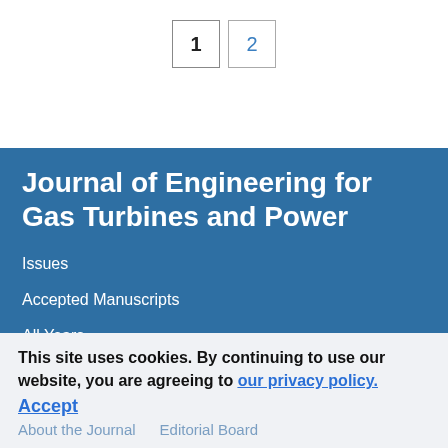1  2
Journal of Engineering for Gas Turbines and Power
Issues
Accepted Manuscripts
All Years
Purchase
This site uses cookies. By continuing to use our website, you are agreeing to our privacy policy.
Accept
About the Journal
Editorial Board